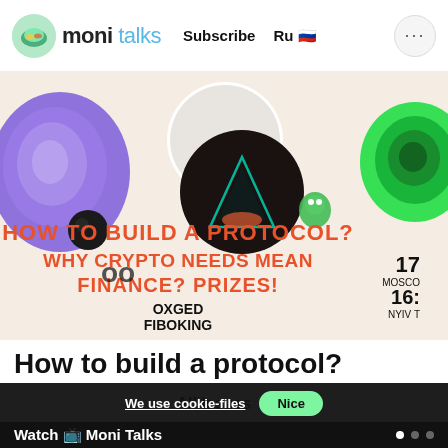moni talks  Subscribe  Ru
[Figure (illustration): Promotional banner for a crypto/DeFi event with colorful abstract NFT-style visuals (purple swirls, green neon rose, dark circular elements). Text overlay reads: HOW TO BUILD A PROTOCOL? WHY CRYPTO NEEDS MEAN FINANCE? PRIZES!  OXGED  FIBOKING  17 MOSCO  16: NYIV T]
How to build a protocol?
All Issues →
We use cookie-files  Nice
Watch 📺 Moni Talks